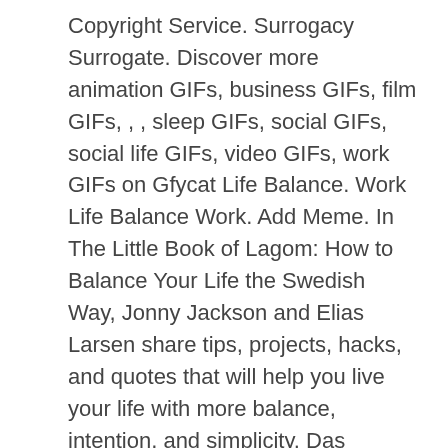Copyright Service. Surrogacy Surrogate. Discover more animation GIFs, business GIFs, film GIFs, , , sleep GIFs, social GIFs, social life GIFs, video GIFs, work GIFs on Gfycat Life Balance. Work Life Balance Work. Add Meme. In The Little Book of Lagom: How to Balance Your Life the Swedish Way, Jonny Jackson and Elias Larsen share tips, projects, hacks, and quotes that will help you live your life with more balance, intention, and simplicity. Das Konzept. Share Tweet. } 15 1 16. Watch Work, Social Life, Sleep Balance GIF on Gfycat. Click To Tweet. Michael Hyatt, 2016 (Book: Living Forward: A Proven Plan to Stop Drifting and Get the Life You Want) 4.